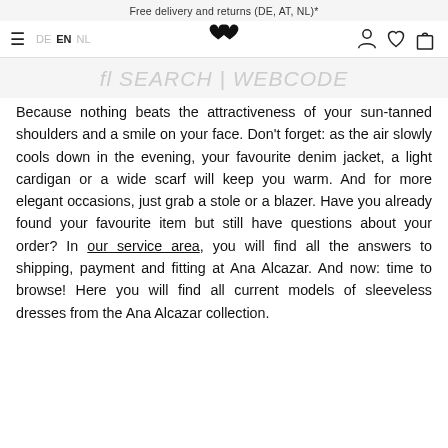Free delivery and returns (DE, AT, NL)*
≡  DE  EN  NL  [logo]  [account] [wishlist] [cart]
fl SEARCH | WEBCODE
Because nothing beats the attractiveness of your sun-tanned shoulders and a smile on your face. Don't forget: as the air slowly cools down in the evening, your favourite denim jacket, a light cardigan or a wide scarf will keep you warm. And for more elegant occasions, just grab a stole or a blazer. Have you already found your favourite item but still have questions about your order? In our service area, you will find all the answers to shipping, payment and fitting at Ana Alcazar. And now: time to browse! Here you will find all current models of sleeveless dresses from the Ana Alcazar collection.